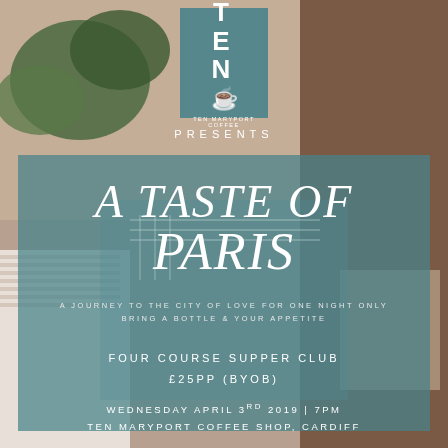[Figure (photo): Background photo of a Parisian outdoor cafe with checked tablecloths and bistro chairs, with a teal/blue-green color overlay panel in the center]
[Figure (logo): TEN logo box in teal: letters T, E, N with a coffee cup icon and text 'TEN MARYPORT COFFEE' below]
PRESENTS
A TASTE OF PARIS
A JOURNEY TO THE CITY OF LOVE FOR ONE NIGHT ONLY
BRING A BOTTLE & YOUR APPETITE
FOUR COURSE SUPPER CLUB
£25PP (BYOB)
WEDNESDAY APRIL 3RD 2019 | 7PM
TEN MARYPORT COFFEE SHOP, CARDIFF